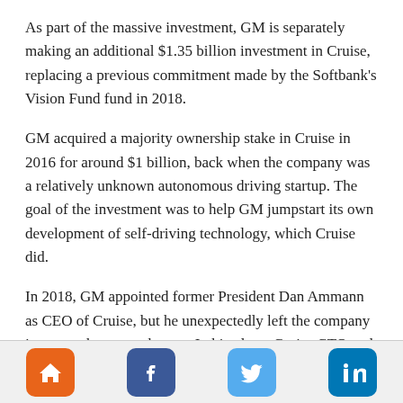As part of the massive investment, GM is separately making an additional $1.35 billion investment in Cruise, replacing a previous commitment made by the Softbank's Vision Fund fund in 2018.
GM acquired a majority ownership stake in Cruise in 2016 for around $1 billion, back when the company was a relatively unknown autonomous driving startup. The goal of the investment was to help GM jumpstart its own development of self-driving technology, which Cruise did.
In 2018, GM appointed former President Dan Ammann as CEO of Cruise, but he unexpectedly left the company just over three months ago. In his place, Cruise CTO and co-founder Kyle Vogt was reinstated as CEO of the company, a
Home | Facebook | Twitter | LinkedIn